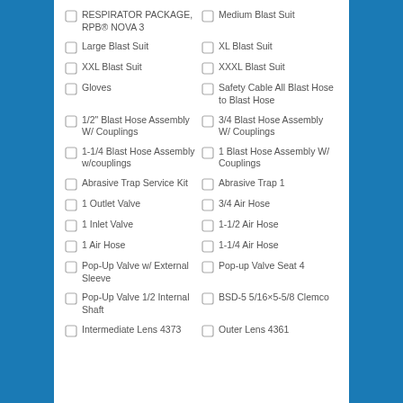RESPIRATOR PACKAGE, RPB® NOVA 3
Medium Blast Suit
Large Blast Suit
XL Blast Suit
XXL Blast Suit
XXXL Blast Suit
Gloves
Safety Cable All Blast Hose to Blast Hose
1/2" Blast Hose Assembly W/ Couplings
3/4 Blast Hose Assembly W/ Couplings
1-1/4 Blast Hose Assembly w/couplings
1 Blast Hose Assembly W/ Couplings
Abrasive Trap Service Kit
Abrasive Trap 1
1 Outlet Valve
3/4 Air Hose
1 Inlet Valve
1-1/2 Air Hose
1 Air Hose
1-1/4 Air Hose
Pop-Up Valve w/ External Sleeve
Pop-up Valve Seat 4
Pop-Up Valve 1/2 Internal Shaft
BSD-5 5/16×5-5/8 Clemco
Intermediate Lens 4373
Outer Lens 4361